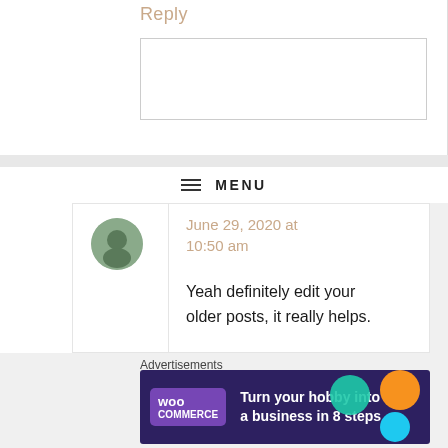Reply
≡  MENU
June 29, 2020 at 10:50 am
Yeah definitely edit your older posts, it really helps.
★ Loading...
Reply
Advertisements
[Figure (screenshot): WooCommerce advertisement banner: 'Turn your hobby into a business in 8 steps' on dark purple background with teal, orange, and blue decorative shapes]